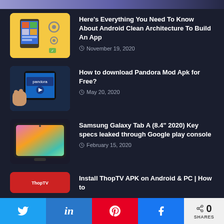ANDROID
Here's Everything You Need To Know About Android Clean Architecture To Build An App — November 19, 2020
How to download Pandora Mod Apk for Free? — May 20, 2020
Samsung Galaxy Tab A (8.4" 2020) Key specs leaked through Google play console — February 15, 2020
Install ThopTV APK on Android & PC | How to
0 SHARES